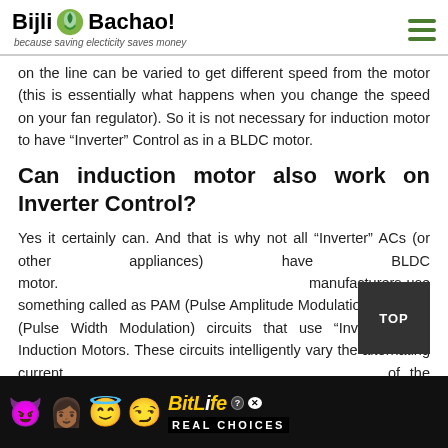Bijli Bachao! because saving electicity saves money
on the line can be varied to get different speed from the motor (this is essentially what happens when you change the speed on your fan regulator). So it is not necessary for induction motor to have “Inverter” Control as in a BLDC motor.
Can induction motor also work on Inverter Control?
Yes it certainly can. And that is why not all “Inverter” ACs (or other appliances) have BLDC motor. manufacturers use something called as PAM (Pulse Amplitude Modulation) or PWM (Pulse Width Modulation) circuits that use “Inverter” with Induction Motors. These circuits intelligently vary the alternating current of the motor. instead
[Figure (screenshot): BitLife REAL CHOICES advertisement banner with emoji characters at the bottom of the page]
[Figure (other): TOP navigation button in dark gray on the right side]